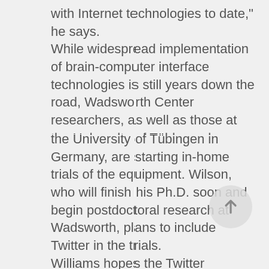with Internet technologies to date," he says. While widespread implementation of brain-computer interface technologies is still years down the road, Wadsworth Center researchers, as well as those at the University of Tübingen in Germany, are starting in-home trials of the equipment. Wilson, who will finish his Ph.D. soon and begin postdoctoral research at Wadsworth, plans to include Twitter in the trials. Williams hopes the Twitter application is the nudge researchers need to refine development of the in-home technology. "A lot of the things that we've been doing are more scientific exercises," he says. "This is one of the first examples where we've found something that would be imediately useful to a much larger community of people with neurological